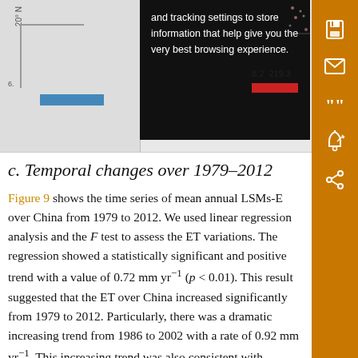[Figure (screenshot): Top portion of page showing a map figure partially obscured by a cookie/tracking consent tooltip overlay with black background and white text reading 'and tracking settings to store information that help give you the very best browsing experience.' Numbers 8.2 and 219.3 visible at top right. Sidebar with orange/brown background contains save, email, quote, bell, and share icons.]
c. Temporal changes over 1979–2012
Figure 9 shows the time series of mean annual LSMs-E over China from 1979 to 2012. We used linear regression analysis and the F test to assess the ET variations. The regression showed a statistically significant and positive trend with a value of 0.72 mm yr⁻¹ (p < 0.01). This result suggested that the ET over China increased significantly from 1979 to 2012. Particularly, there was a dramatic increasing trend from 1986 to 2002 with a rate of 0.92 mm yr⁻¹. This increasing trend was also consistent with